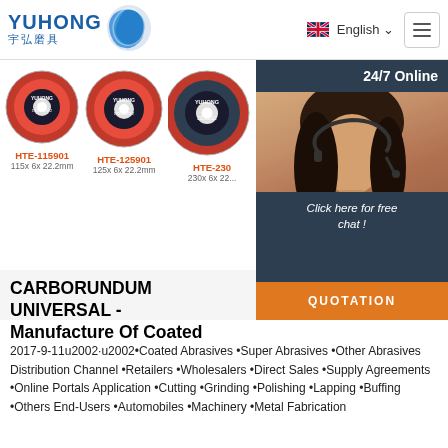YUHONG 宇弘磨具 | English | Menu
[Figure (screenshot): Product images of grinding/cutting discs: HTE-115901 (115x 6x 22.2mm), HTE-125901 (125x 6x 22.2mm), HTE-230 (230x 6x 22.2mm) partially visible, with a 24/7 online chat widget showing a customer service representative]
CARBORUNDUM UNIVERSAL - Manufacture Of Coated
2017-9-11u2002·u2002•Coated Abrasives •Super Abrasives •Other Abrasives Distribution Channel •Retailers •Wholesalers •Direct Sales •Supply Agreements •Online Portals Application •Cutting •Grinding •Polishing •Lapping •Buffing •Others End-Users •Automobiles •Machinery •Metal Fabrication